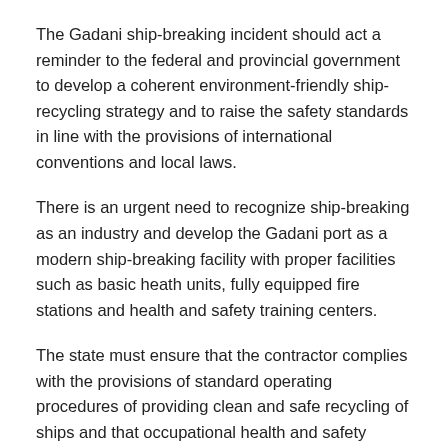The Gadani ship-breaking incident should act a reminder to the federal and provincial government to develop a coherent environment-friendly ship-recycling strategy and to raise the safety standards in line with the provisions of international conventions and local laws.
There is an urgent need to recognize ship-breaking as an industry and develop the Gadani port as a modern ship-breaking facility with proper facilities such as basic heath units, fully equipped fire stations and health and safety training centers.
The state must ensure that the contractor complies with the provisions of standard operating procedures of providing clean and safe recycling of ships and that occupational health and safety (OHS) rules are strictly followed.
Pakistan should ratify the Hong Kong convention for safe and sound recycling of ships that is not damaging to the environment or human health. Stringent and coherent policies should be enacted and implemented to make the working environment safer for the